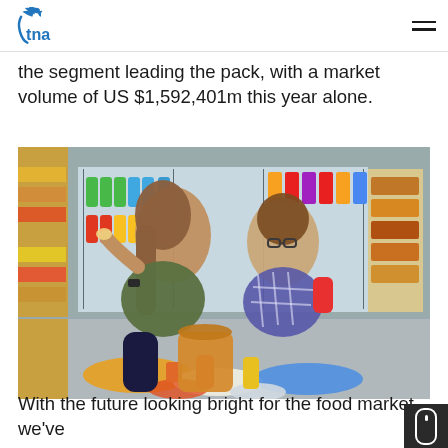tna [logo] [hamburger menu]
the segment leading the pack, with a market volume of US $1,592,401m this year alone.
[Figure (photo): Two young people (a woman and a man) sitting on the floor of a supermarket aisle eating snacks, surrounded by various snack food packages. Supermarket shelves and refrigerated drinks section visible in background.]
With the future looking bright for the food market, we've